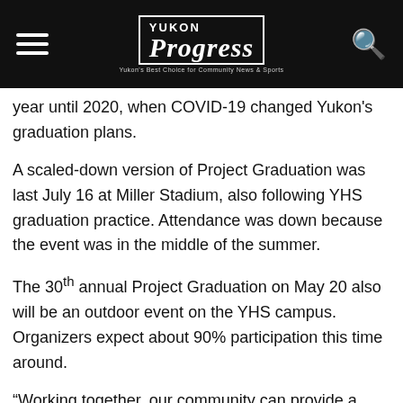Yukon Progress
year until 2020, when COVID-19 changed Yukon's graduation plans.
A scaled-down version of Project Graduation was last July 16 at Miller Stadium, also following YHS graduation practice. Attendance was down because the event was in the middle of the summer.
The 30th annual Project Graduation on May 20 also will be an outdoor event on the YHS campus. Organizers expect about 90% participation this time around.
“Working together, our community can provide a successful Project Graduation for Yukon students,” Bell said.